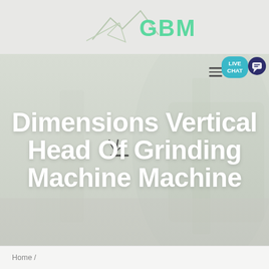[Figure (logo): GBM logo with mountain/paper plane graphic and teal GBM text in top header area]
Dimensions Vertical Head Of Grinding Machine Machine
[Figure (photo): Background photo of grinding machine, faded/light, behind the title text]
[Figure (illustration): Live Chat teal speech bubble with dark blue chat icon in top right]
Home /